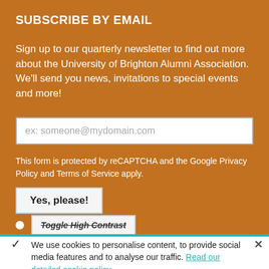SUBSCRIBE BY EMAIL
Sign up to our quarterly newsletter to find out more about the University of Brighton Alumni Association. We'll send you news, invitations to special events and more!
ex: someone@mydomain.com
This form is protected by reCAPTCHA and the Google Privacy Policy and Terms of Service apply.
Yes, please!
Toggle High Contrast
We use cookies to personalise content, to provide social media features and to analyse our traffic. Read our detailed cookie policy